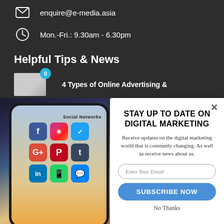enquire@e-media.asia
Mon.-Fri.: 9.30am - 6.30pm
Helpful Tips & News
4 Types of Online Advertising &
[Figure (photo): A hand holding a smartphone displaying social media app icons including Facebook, Instagram, Twitter, Google+, Pinterest, Tumblr, LinkedIn, WhatsApp, and Messenger. Text 'Social Networks' visible on screen.]
STAY UP TO DATE ON DIGITAL MARKETING
Receive updates on the digital marketing world that is constantly changing. As well as receive news about us.
Enter Your Email
SUBSCRIBE NOW
No Thanks